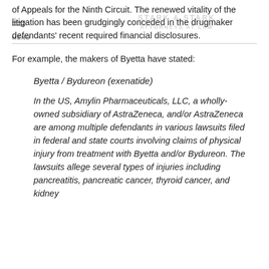STARK & STARK ATTORNEYS AT LAW | MENU
of Appeals for the Ninth Circuit. The renewed vitality of the litigation has been grudgingly conceded in the drugmaker defendants' recent required financial disclosures.
For example, the makers of Byetta have stated:
Byetta / Bydureon (exenatide)
In the US, Amylin Pharmaceuticals, LLC, a wholly-owned subsidiary of AstraZeneca, and/or AstraZeneca are among multiple defendants in various lawsuits filed in federal and state courts involving claims of physical injury from treatment with Byetta and/or Bydureon. The lawsuits allege several types of injuries including pancreatitis, pancreatic cancer, thyroid cancer, and kidney